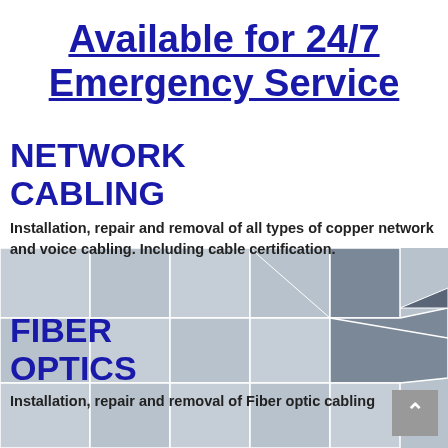Available for 24/7 Emergency Service
NETWORK CABLING
Installation, repair and removal of all types of copper network and voice cabling. Including cable certification.
[Figure (map): Background map showing US states (western/central US region), with some states highlighted in darker grey, overlaid behind the text content.]
FIBER OPTICS
Installation, repair and removal of Fiber optic cabling